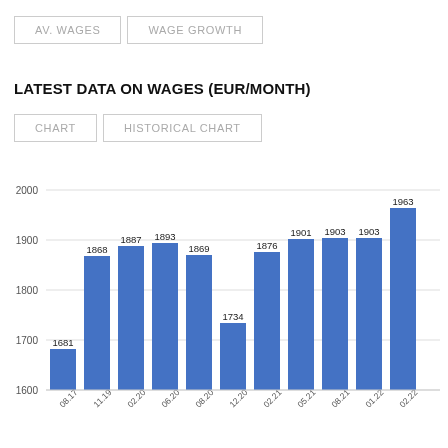[Figure (bar-chart): LATEST DATA ON WAGES (EUR/MONTH)]